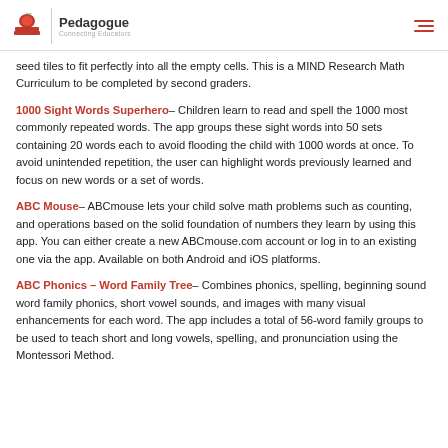Pedagogue — Connecting Educators
seed tiles to fit perfectly into all the empty cells. This is a MIND Research Math Curriculum to be completed by second graders.
1000 Sight Words Superhero– Children learn to read and spell the 1000 most commonly repeated words. The app groups these sight words into 50 sets containing 20 words each to avoid flooding the child with 1000 words at once. To avoid unintended repetition, the user can highlight words previously learned and focus on new words or a set of words.
ABC Mouse– ABCmouse lets your child solve math problems such as counting, and operations based on the solid foundation of numbers they learn by using this app. You can either create a new ABCmouse.com account or log in to an existing one via the app. Available on both Android and iOS platforms.
ABC Phonics – Word Family Tree– Combines phonics, spelling, beginning sound word family phonics, short vowel sounds, and images with many visual enhancements for each word. The app includes a total of 56-word family groups to be used to teach short and long vowels, spelling, and pronunciation using the Montessori Method.